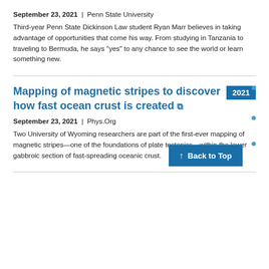September 23, 2021 | Penn State University
Third-year Penn State Dickinson Law student Ryan Marr believes in taking advantage of opportunities that come his way. From studying in Tanzania to traveling to Bermuda, he says "yes" to any chance to see the world or learn something new.
Mapping of magnetic stripes to discover how fast ocean crust is created
September 23, 2021 | Phys.Org
Two University of Wyoming researchers are part of the first-ever mapping of magnetic stripes—one of the foundations of plate tectonics—within the lower gabbroic section of fast-spreading oceanic crust.